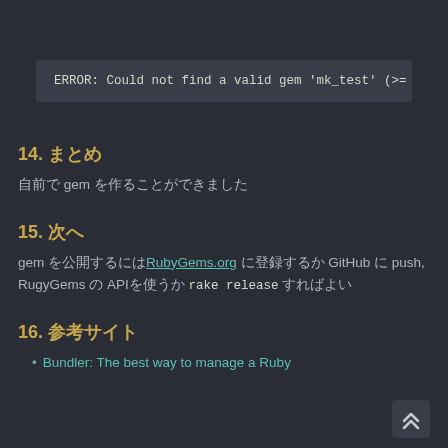ERROR:  Could not find a valid gem 'mk_test' (>= 0) in a
14. まとめ
自前で gem を作ることができました
15. 次へ
gem を公開するには RubyGems.org に登録するか GitHub に push, RugyGems の API を使うか rake release すればよい
16. 参考サイト
Bundler: The best way to manage a Ruby